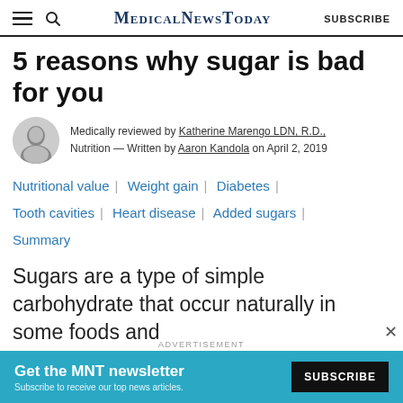MedicalNewsToday  SUBSCRIBE
5 reasons why sugar is bad for you
Medically reviewed by Katherine Marengo LDN, R.D., Nutrition — Written by Aaron Kandola on April 2, 2019
Nutritional value | Weight gain | Diabetes | Tooth cavities | Heart disease | Added sugars | Summary
Sugars are a type of simple carbohydrate that occur naturally in some foods and
ADVERTISEMENT
Get the MNT newsletter
Subscribe to receive our top news articles.
SUBSCRIBE